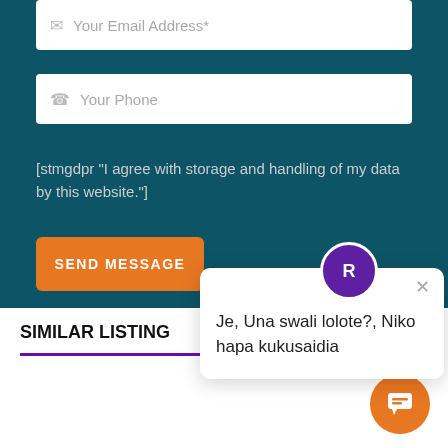Your Email Address*
Your Phone
[stmgdpr "I agree with storage and handling of my data by this website."]
SEND MESSAGE
SIMILAR LISTING
Je, Una swali lolote?, Niko hapa kukusaidia